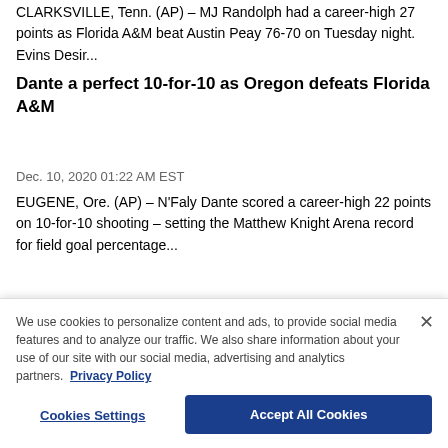CLARKSVILLE, Tenn. (AP) – MJ Randolph had a career-high 27 points as Florida A&M beat Austin Peay 76-70 on Tuesday night. Evins Desir...
Dante a perfect 10-for-10 as Oregon defeats Florida A&M
Dec. 10, 2020 01:22 AM EST
EUGENE, Ore. (AP) – N'Faly Dante scored a career-high 22 points on 10-for-10 shooting – setting the Matthew Knight Arena record for field goal percentage...
We use cookies to personalize content and ads, to provide social media features and to analyze our traffic. We also share information about your use of our site with our social media, advertising and analytics partners. Privacy Policy
Cookies Settings
Accept All Cookies